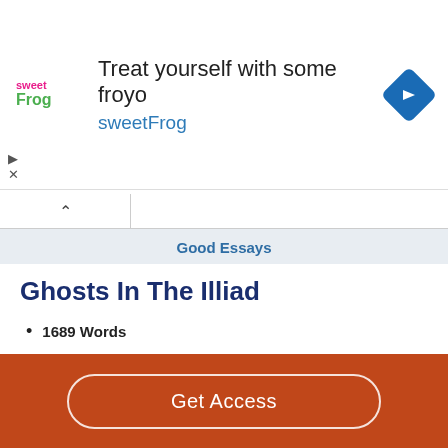[Figure (other): sweetFrog advertisement banner with logo, text 'Treat yourself with some froyo sweetFrog', and navigation arrow icon]
Good Essays
Ghosts In The Illiad
1689 Words
7 Pages
Although it is unknown when people began to believe in ghosts, but from the evidences it is dated back to ancient Mesopotamian religion as well as Egypt culture in the Bronze age (3300-1200 BC). The belief was started by the concept of
Get Access